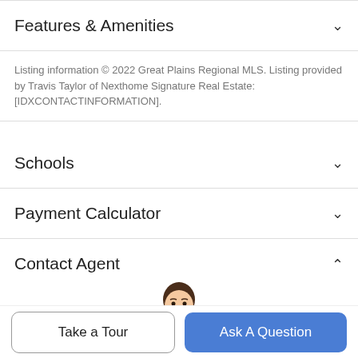Features & Amenities
Listing information © 2022 Great Plains Regional MLS. Listing provided by Travis Taylor of Nexthome Signature Real Estate: [IDXCONTACTINFORMATION].
Schools
Payment Calculator
Contact Agent
[Figure (illustration): Avatar illustration of a man in a blue shirt]
Take a Tour
Ask A Question